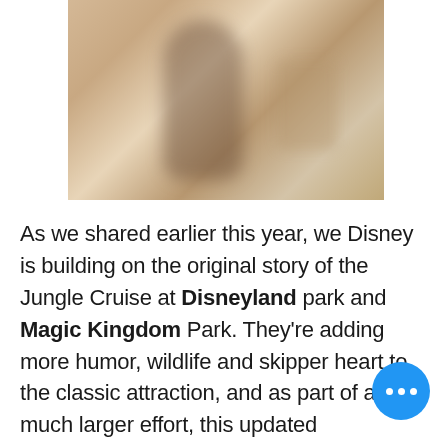[Figure (photo): A blurry photograph showing a person's silhouette in a warm, beige-toned indoor setting, partially obscured.]
As we shared earlier this year, we Disney is building on the original story of the Jungle Cruise at Disneyland park and Magic Kingdom Park. They're adding more humor, wildlife and skipper heart to the classic attraction, and as part of a much larger effort, this updated experience will welcome new characters from around the world. The enhancements include several scenes Guests will experience along